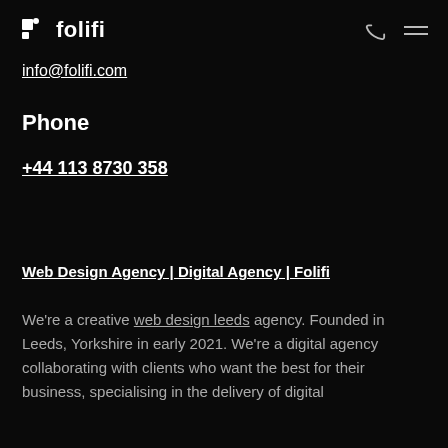folifi
info@folifi.com
Phone
+44 113 8730 358
Web Design Agency | Digital Agency | Folifi
We're a creative web design leeds agency. Founded in Leeds, Yorkshire in early 2021. We're a digital agency collaborating with clients who want the best for their business, specialising in the delivery of digital